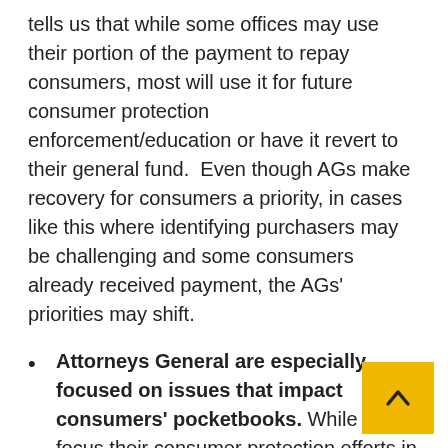tells us that while some offices may use their portion of the payment to repay consumers, most will use it for future consumer protection enforcement/education or have it revert to their general fund.  Even though AGs make recovery for consumers a priority, in cases like this where identifying purchasers may be challenging and some consumers already received payment, the AGs' priorities may shift.
Attorneys General are especially focused on issues that impact consumers' pocketbooks. While AGs focus their consumer protection efforts in a variety of areas, the recent wave on inflation has kept them specifically focused on matters that impact consumers' out-of-pocket costs.  Many of the press releases focused on rising gas prices and the significant impact fuel economy has on consumers' choice.  Businesses should be especially sensitive to disclosures made regarding overall costs.